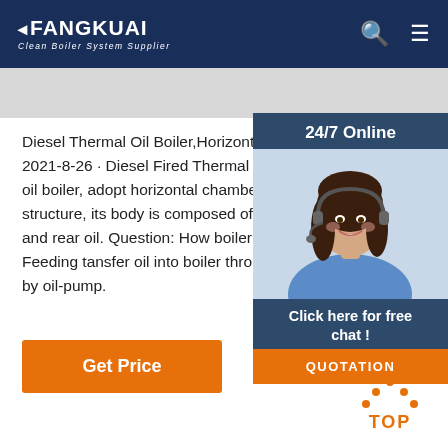FANGKUAI Clean Boiler System Supplier
[Figure (screenshot): Customer service representative photo with 24/7 Online banner and Click here for free chat / QUOTATION button]
Diesel Thermal Oil Boiler,Horizontal Oil Boiler,Ve 2021-8-26 · Diesel Fired Thermal Oil Boiler . YYO oil boiler, adopt horizontal chamber combustion structure, its body is composed of outer oil, mid and rear oil. Question: How boiler heating oil ci Feeding tansfer oil into boiler through oil-gas se by oil-pump.
Get Price